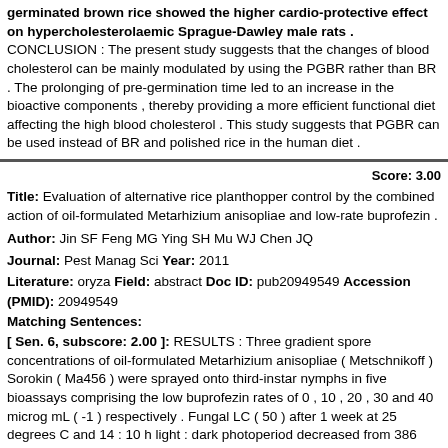germinated brown rice showed the higher cardio-protective effect on hypercholesterolaemic Sprague-Dawley male rats . CONCLUSION : The present study suggests that the changes of blood cholesterol can be mainly modulated by using the PGBR rather than BR . The prolonging of pre-germination time led to an increase in the bioactive components , thereby providing a more efficient functional diet affecting the high blood cholesterol . This study suggests that PGBR can be used instead of BR and polished rice in the human diet .
Score: 3.00
Title: Evaluation of alternative rice planthopper control by the combined action of oil-formulated Metarhizium anisopliae and low-rate buprofezin .
Author: Jin SF Feng MG Ying SH Mu WJ Chen JQ
Journal: Pest Manag Sci Year: 2011
Literature: oryza Field: abstract Doc ID: pub20949549 Accession (PMID): 20949549
Matching Sentences:
[ Sen. 6, subscore: 2.00 ]: RESULTS : Three gradient spore concentrations of oil-formulated Metarhizium anisopliae ( Metschnikoff ) Sorokin ( Ma456 ) were sprayed onto third-instar nymphs in five bioassays comprising the low buprofezin rates of 0 , 10 , 20 , 30 and 40 microg mL ( -1 ) respectively . Fungal LC ( 50 ) after 1 week at 25 degrees C and 14 : 10 h light : dark photoperiod decreased from 386 conidia mm ( -2 ) in the buprofezin-free bioassay to 40 at the highest chemical rate . Buprofezin ( LC ( 50 ) : 1647 , 486 and 233 microg mL ( -1 ) on days 2 to 4 ) had no significant effect on the fungal outgrowths of mycosis-killed cadavers at the low application rates . The fungal infection was found to cause 81% reduction in reproductive potential of BPH